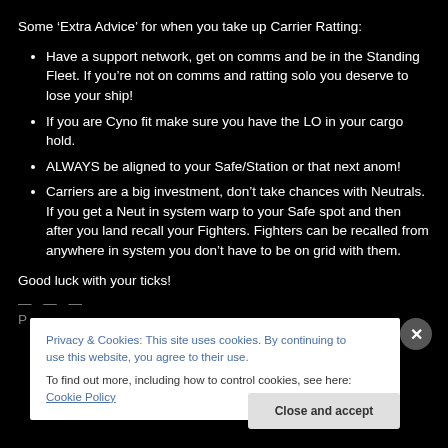Some ‘Extra Advice’ for when you take up Carrier Ratting:
Have a support network, get on comms and be in the Standing Fleet. If you’re not on comms and ratting solo you deserve to lose your ship!
If you are Cyno fit make sure you have the LO in your cargo hold.
ALWAYS be aligned to your Safe/Station or that next anom!
Carriers are a big investment, don’t take chances with Neutrals. If you get a Neut in system warp to your Safe spot and then after you land recall your Fighters. Fighters can be recalled from anywhere in system you don’t have to be on grid with them.
Good luck with your ticks!
— — —
Privacy & Cookies: This site uses cookies. By continuing to use this website, you agree to their use.
To find out more, including how to control cookies, see here: Cookie Policy